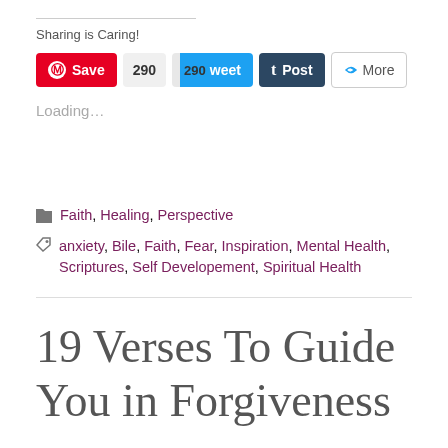Sharing is Caring!
[Figure (screenshot): Social sharing buttons: Pinterest Save, 290 count, Tweet, Tumblr Post, More]
Loading...
Faith, Healing, Perspective
anxiety, Bile, Faith, Fear, Inspiration, Mental Health, Scriptures, Self Developement, Spiritual Health
19 Verses To Guide You in Forgiveness